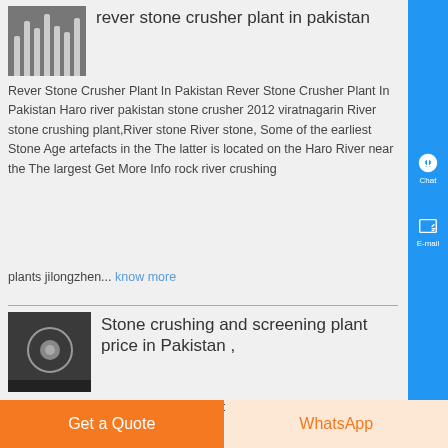[Figure (photo): Thumbnail image of stone crusher machinery]
rever stone crusher plant in pakistan
Rever Stone Crusher Plant In Pakistan Rever Stone Crusher Plant In Pakistan Haro river pakistan stone crusher 2012 viratnagarin River stone crushing plant,River stone River stone, Some of the earliest Stone Age artefacts in the The latter is located on the Haro River near the The largest Get More Info rock river crushing plants jilongzhen... know more
[Figure (photo): Thumbnail image of stone crushing and screening equipment]
Stone crushing and screening plant price in Pakistan ,
Stone crushing and screening plant price in Pakistan Stone crusher plant, which can also be